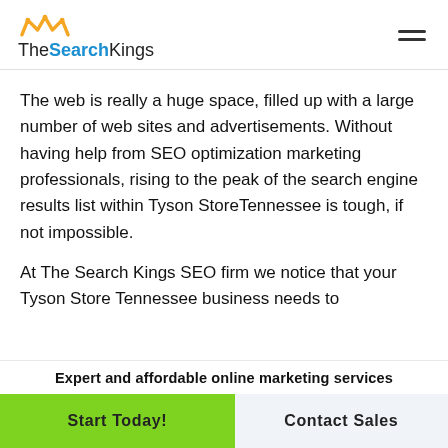[Figure (logo): TheSearchKings logo with golden crown icon above the text. 'The' in dark/black, 'Search' in blue bold, 'Kings' in dark/black.]
The web is really a huge space, filled up with a large number of web sites and advertisements. Without having help from SEO optimization marketing professionals, rising to the peak of the search engine results list within Tyson StoreTennessee is tough, if not impossible.
At The Search Kings SEO firm we notice that your Tyson Store Tennessee business needs to...
Expert and affordable online marketing services
Start Today!
Contact Sales